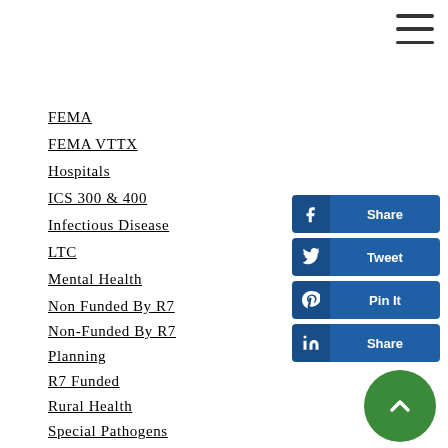FEMA
FEMA VTTX
Hospitals
ICS 300 & 400
Infectious Disease
LTC
Mental Health
Non Funded By R7
Non-Funded By R7
Planning
R7 Funded
Rural Health
Special Pathogens
Tabletop
Training
Trauma
Volunt...